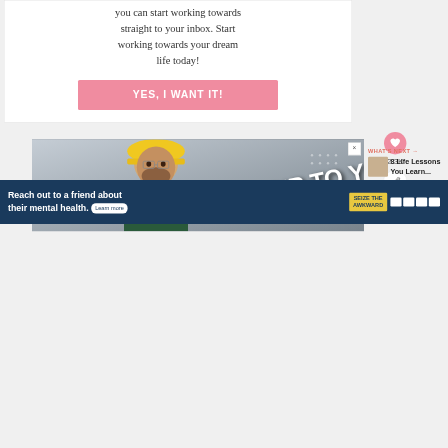you can start working towards straight to your inbox. Start working towards your dream life today!
[Figure (other): Pink call-to-action button with text 'YES, I WANT IT!']
2.3K
[Figure (photo): Construction worker in yellow hard hat with text 'IT'S UP TO YOU' overlay]
WHAT'S NEXT → 8 Life Lessons You Learn...
[Figure (other): Advertisement banner: 'Reach out to a friend about their mental health. Learn more' with SEIZE THE AWKWARD badge]